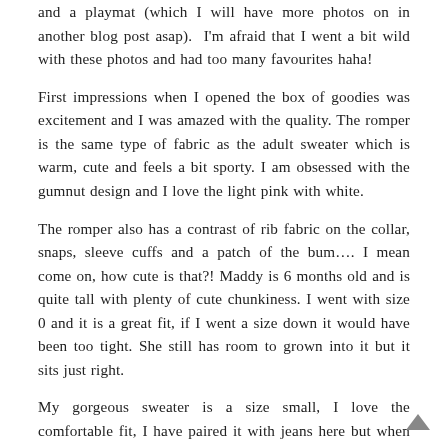and a playmat (which I will have more photos on in another blog post asap).  I'm afraid that I went a bit wild with these photos and had too many favourites haha!
First impressions when I opened the box of goodies was excitement and I was amazed with the quality. The romper is the same type of fabric as the adult sweater which is warm, cute and feels a bit sporty. I am obsessed with the gumnut design and I love the light pink with white.
The romper also has a contrast of rib fabric on the collar, snaps, sleeve cuffs and a patch of the bum…. I mean come on, how cute is that?! Maddy is 6 months old and is quite tall with plenty of cute chunkiness. I went with size 0 and it is a great fit, if I went a size down it would have been too tight. She still has room to grown into it but it sits just right.
My gorgeous sweater is a size small, I love the comfortable fit, I have paired it with jeans here but when I'm in a even more casual look on one of those busy days (who am I kidding, everyday is busy with a bub) I would also pair it with trackies or these cute beige flared pants I have. Maybe I'll snap some photos in those next time.